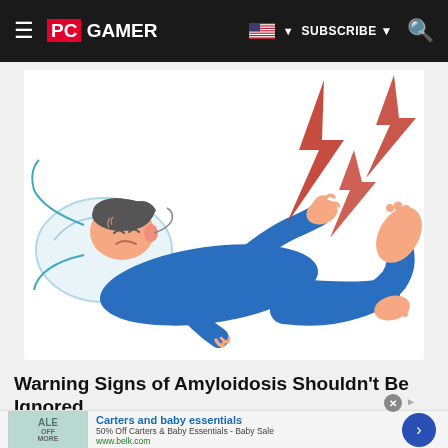PC GAMER | SUBSCRIBE | Search
[Figure (illustration): Illustration of a man in blue pajamas lying in bed, clearly in pain, holding his leg raised with red lightning bolt symbols indicating pain in the foot/ankle area, on a white pillow background.]
Warning Signs of Amyloidosis Shouldn't Be Ignored.
[Figure (other): Advertisement banner: Carters and baby essentials - 50% Off Carters & Baby Essentials - Baby Sale - www.belk.com with a Carters product image thumbnail and a blue arrow CTA button.]